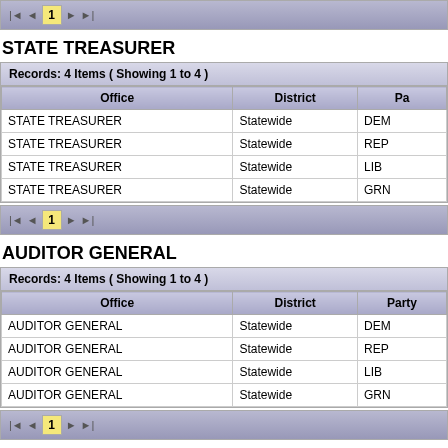[Figure (screenshot): Pagination bar showing page 1 at top of page]
STATE TREASURER
| Office | District | Party |
| --- | --- | --- |
| STATE TREASURER | Statewide | DEM |
| STATE TREASURER | Statewide | REP |
| STATE TREASURER | Statewide | LIB |
| STATE TREASURER | Statewide | GRN |
[Figure (screenshot): Pagination bar showing page 1 below STATE TREASURER table]
AUDITOR GENERAL
| Office | District | Party |
| --- | --- | --- |
| AUDITOR GENERAL | Statewide | DEM |
| AUDITOR GENERAL | Statewide | REP |
| AUDITOR GENERAL | Statewide | LIB |
| AUDITOR GENERAL | Statewide | GRN |
[Figure (screenshot): Pagination bar showing page 1 below AUDITOR GENERAL table]
REPRESENTATIVE IN CONGRESS
Records: 36 Items ( Showing 1 to 10 )